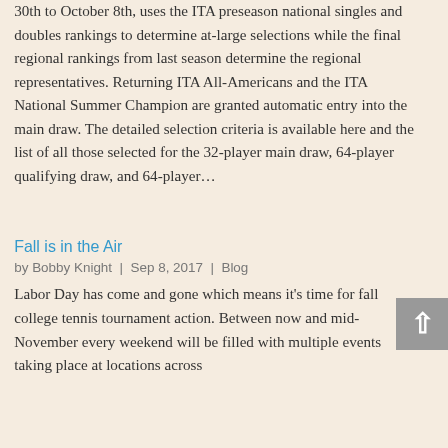30th to October 8th, uses the ITA preseason national singles and doubles rankings to determine at-large selections while the final regional rankings from last season determine the regional representatives. Returning ITA All-Americans and the ITA National Summer Champion are granted automatic entry into the main draw. The detailed selection criteria is available here and the list of all those selected for the 32-player main draw, 64-player qualifying draw, and 64-player…
Fall is in the Air
by Bobby Knight | Sep 8, 2017 | Blog
Labor Day has come and gone which means it's time for fall college tennis tournament action. Between now and mid-November every weekend will be filled with multiple events taking place at locations across